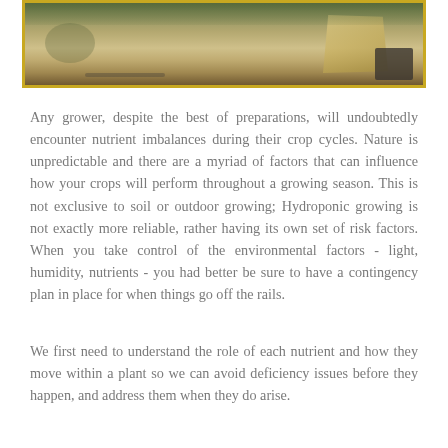[Figure (photo): Top portion of a photo showing an outdoor scene with soil/ground, some green plants visible at the top left, and what appears to be tools or materials on the ground. Image has a yellow/gold border.]
Any grower, despite the best of preparations, will undoubtedly encounter nutrient imbalances during their crop cycles. Nature is unpredictable and there are a myriad of factors that can influence how your crops will perform throughout a growing season. This is not exclusive to soil or outdoor growing; Hydroponic growing is not exactly more reliable, rather having its own set of risk factors. When you take control of the environmental factors - light, humidity, nutrients - you had better be sure to have a contingency plan in place for when things go off the rails.
We first need to understand the role of each nutrient and how they move within a plant so we can avoid deficiency issues before they happen, and address them when they do arise.